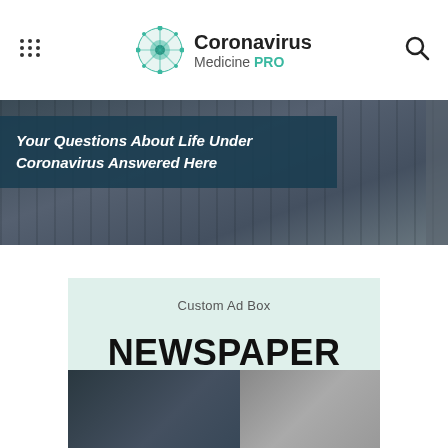Coronavirus Medicine PRO
[Figure (screenshot): Website header banner with dark overlay and blue block showing article title 'Your Questions About Life Under Coronavirus Answered Here']
Your Questions About Life Under Coronavirus Answered Here
[Figure (infographic): Custom Ad Box with light green background showing NEWSPAPER Medicine PRO branding and partial image at bottom]
Custom Ad Box
NEWSPAPER Medicine PRO